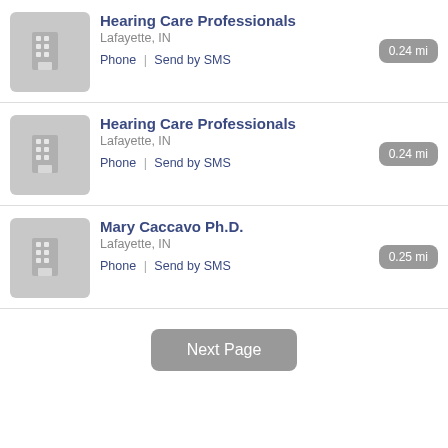Hearing Care Professionals, Lafayette, IN, 0.24 mi, Phone | Send by SMS
Hearing Care Professionals, Lafayette, IN, 0.24 mi, Phone | Send by SMS
Mary Caccavo Ph.D., Lafayette, IN, 0.25 mi, Phone | Send by SMS
Next Page